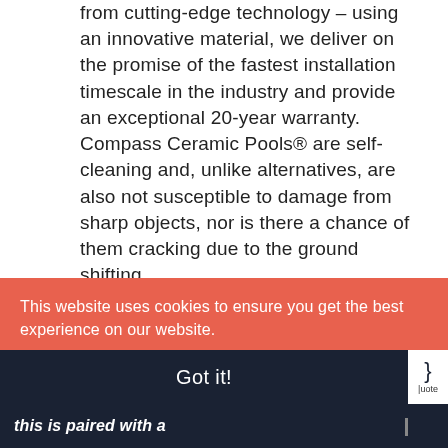from cutting-edge technology – using an innovative material, we deliver on the promise of the fastest installation timescale in the industry and provide an exceptional 20-year warranty. Compass Ceramic Pools® are self-cleaning and, unlike alternatives, are also not susceptible to damage from sharp objects, nor is there a chance of them cracking due to the ground shifting.
This website uses cookies to ensure you get the best experience on our website. Learn more
Got it!
this is paired with a